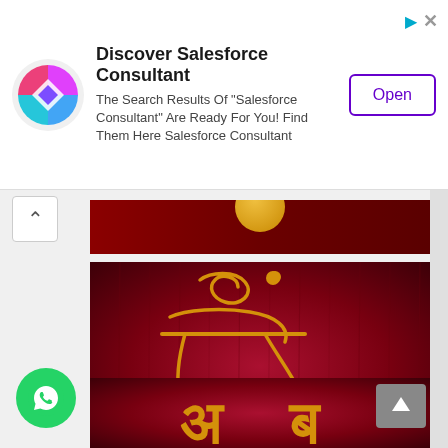[Figure (screenshot): Advertisement banner for Salesforce Consultant with colorful app icon, bold title 'Discover Salesforce Consultant', body text 'The Search Results Of "Salesforce Consultant" Are Ready For You! Find Them Here Salesforce Consultant', and an 'Open' button. Corner shows arrow and X icons.]
[Figure (photo): Dark crimson red background image (partially visible at top) with a gold circle/sun element at top center.]
[Figure (photo): Dark crimson red textured background with golden Hindi/Devanagari calligraphy characters in an ornate style.]
[Figure (photo): Dark crimson red background with partial golden Hindi/Devanagari characters visible at the bottom of the page.]
[Figure (logo): WhatsApp green circular button with white phone icon at bottom left.]
[Figure (illustration): Grey scroll-to-top arrow button at bottom right.]